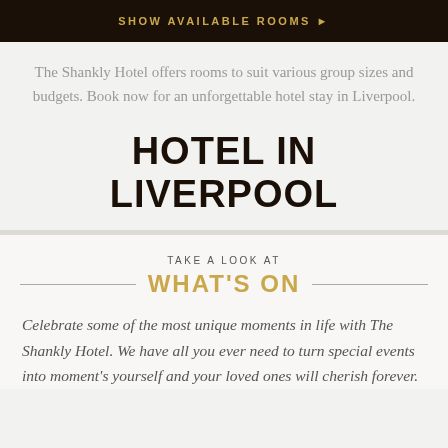SHOW AVAILABLE ROOMS ▶
The Shankly Hotel offers rooms to suit various group sizes and budgets. Book now for an unforgettable hotel stay in Liverpool.
HOTEL IN LIVERPOOL
TAKE A LOOK AT WHAT'S ON
Celebrate some of the most unique moments in life with The Shankly Hotel. We have all you ever need to turn special events into moment's yourself and your loved ones will cherish forever.